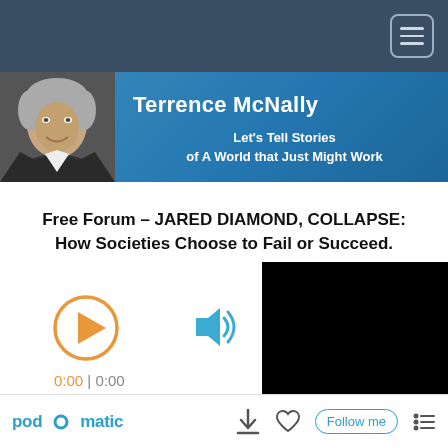[Figure (screenshot): Top navigation bar with dark blue-grey background and hamburger menu button in top right corner]
[Figure (screenshot): Podcast header banner with photo of Terrence McNally (grey-haired man) on blue gradient background]
Terrence McNally
Let's Tell Stories of A World that Just Might Work
Free Forum – JARED DIAMOND, COLLAPSE: How Societies Choose to Fail or Succeed.
[Figure (screenshot): Audio player controls: orange circular play button on the left, blue volume/speaker icon in the middle. Time display shows 0:00 | 0:00 in orange and grey.]
[Figure (screenshot): Black video thumbnail rectangle on the right side of the player]
[Figure (screenshot): Podomatic footer bar with logo, download icon, heart icon, Follow me button, and list icon]